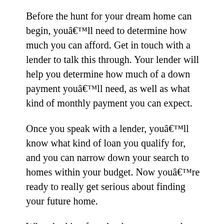Before the hunt for your dream home can begin, youâll need to determine how much you can afford. Get in touch with a lender to talk this through. Your lender will help you determine how much of a down payment youâll need, as well as what kind of monthly payment you can expect.
Once you speak with a lender, youâll know what kind of loan you qualify for, and you can narrow down your search to homes within your budget. Now youâre ready to really get serious about finding your future home.
When looking for a lender, many people start with their bank. Your bank isnât a bad place to start, but donât forget to shop around for the best rate. If you donât check out all the